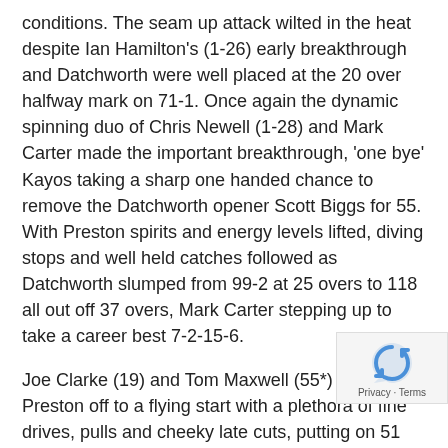conditions. The seam up attack wilted in the heat despite Ian Hamilton's (1-26) early breakthrough and Datchworth were well placed at the 20 over halfway mark on 71-1. Once again the dynamic spinning duo of Chris Newell (1-28) and Mark Carter made the important breakthrough, 'one bye' Kayos taking a sharp one handed chance to remove the Datchworth opener Scott Biggs for 55. With Preston spirits and energy levels lifted, diving stops and well held catches followed as Datchworth slumped from 99-2 at 25 overs to 118 all out off 37 overs, Mark Carter stepping up to take a career best 7-2-15-6.
Joe Clarke (19) and Tom Maxwell (55*) got Preston off to a flying start with a plethora of fine drives, pulls and cheeky late cuts, putting on 51 for the first wicket, Macca's four fours in one over being a highlight. As Datchworth heads dropped and the occasional bo came on, Saunders (33*) and Maxwell finished the in 22 overs with Preston at 119-1.